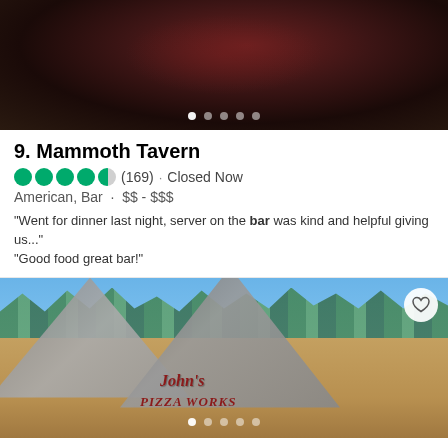[Figure (photo): Close-up dark photo, appears to be a beverage or food item with dark background, carousel dots at bottom]
9. Mammoth Tavern
4.5 stars (169) · Closed Now
American, Bar · $$ - $$$
"Went for dinner last night, server on the bar was kind and helpful giving us..."
"Good food great bar!"
[Figure (photo): Exterior photo of John's Pizza Works restaurant building, A-frame architecture with sign visible, heart/favorite button in top right corner, carousel dots at bottom]
10. John's Pizza Works
4 stars (497) · Closed Now
Italian, American · $$ - $$$ · Menu
"The wings were pretty fantastic."